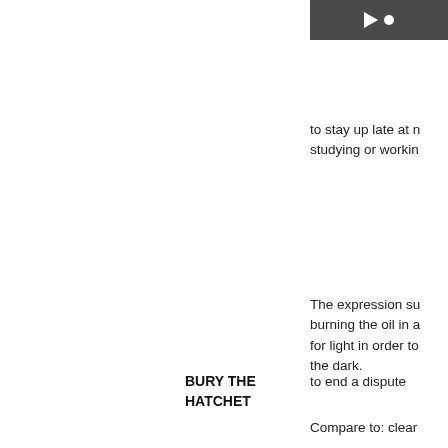[Figure (screenshot): Video thumbnail with play button on dark background]
to stay up late at night studying or working
The expression su burning the oil in a for light in order to the dark.
BURY THE HATCHET
to end a dispute
Compare to: clear